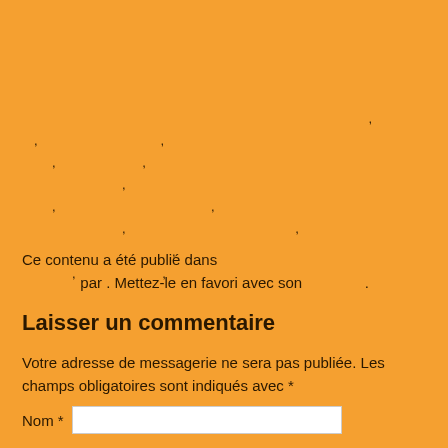, , , , , , , , , , , , , , , , , , , , ,
Ce contenu a été publié dans par . Mettez-le en favori avec son .
Laisser un commentaire
Votre adresse de messagerie ne sera pas publiée. Les champs obligatoires sont indiqués avec *
Nom *